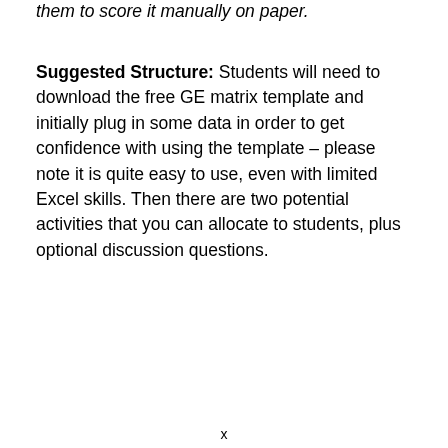them to score it manually on paper.
Suggested Structure: Students will need to download the free GE matrix template and initially plug in some data in order to get confidence with using the template – please note it is quite easy to use, even with limited Excel skills. Then there are two potential activities that you can allocate to students, plus optional discussion questions.
x